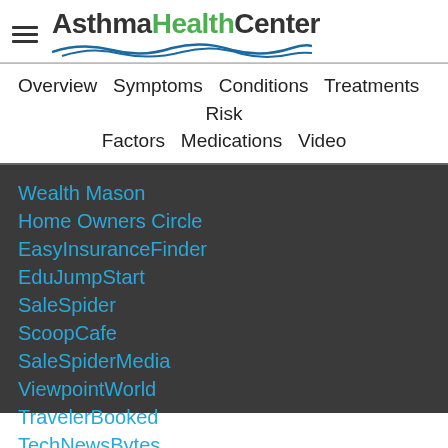AsthmaHealthCenter
Overview  Symptoms  Conditions  Treatments  Risk Factors  Medications  Video
Wealth Mason
Home Owners Circle
EasyInsuranceFinder
EduJumpStart
SaleSpider
ScoopCafe
SaleSpiderMedia
ViewpointWorld
TravelerBooked
TechNewsBytes
About